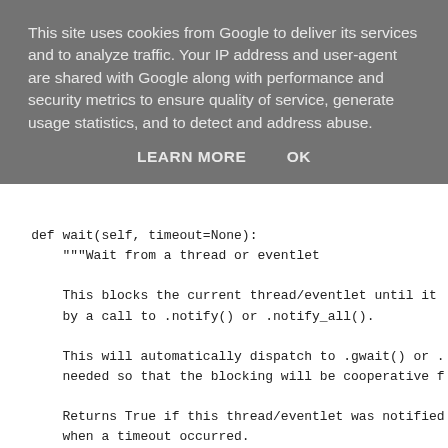This site uses cookies from Google to deliver its services and to analyze traffic. Your IP address and user-agent are shared with Google along with performance and security metrics to ensure quality of service, generate usage statistics, and to detect and address abuse.
LEARN MORE   OK
def wait(self, timeout=None):
    """Wait from a thread or eventlet

    This blocks the current thread/eventlet until it
    by a call to .notify() or .notify_all().

    This will automatically dispatch to .gwait() or .
    needed so that the blocking will be cooperative f

    Returns True if this thread/eventlet was notified
    when a timeout occurred.
    """

    hub = eventlet.hubs.get_hub()
    if hub.running:
        self.gwait(timeout)
    else:
        self.twit(timeout)